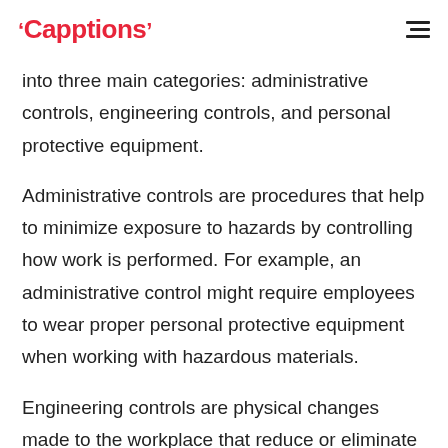Capptions
into three main categories: administrative controls, engineering controls, and personal protective equipment.
Administrative controls are procedures that help to minimize exposure to hazards by controlling how work is performed. For example, an administrative control might require employees to wear proper personal protective equipment when working with hazardous materials.
Engineering controls are physical changes made to the workplace that reduce or eliminate exposure to hazards. For example, installing ventilation systems can help to remove harmful fumes from the air.